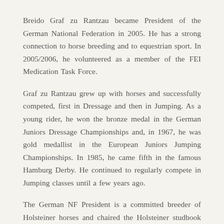Breido Graf zu Rantzau became President of the German National Federation in 2005. He has a strong connection to horse breeding and to equestrian sport. In 2005/2006, he volunteered as a member of the FEI Medication Task Force.
Graf zu Rantzau grew up with horses and successfully competed, first in Dressage and then in Jumping. As a young rider, he won the bronze medal in the German Juniors Dressage Championships and, in 1967, he was gold medallist in the European Juniors Jumping Championships. In 1985, he came fifth in the famous Hamburg Derby. He continued to regularly compete in Jumping classes until a few years ago.
The German NF President is a committed breeder of Holsteiner horses and chaired the Holsteiner studbook between 1986 and 2007. From 1989 to 2005, he was member of the German NF's Breeding Board. From 1999 to 2005, he was also Vice-President and representative of the German studbooks at the World Breeding Federation